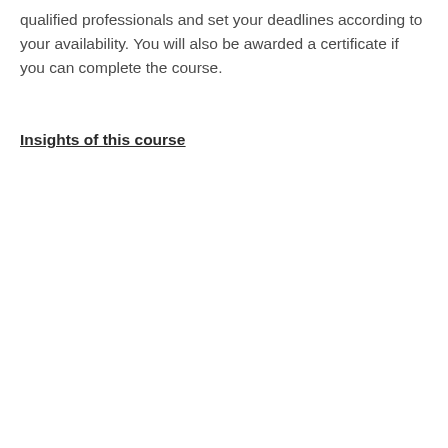qualified professionals and set your deadlines according to your availability. You will also be awarded a certificate if you can complete the course.
Insights of this course